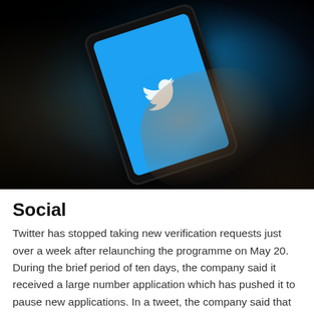[Figure (photo): A hand holding a smartphone displaying the Twitter (blue bird) logo on a bright blue screen, photographed in a dark environment. The background is very dark/black.]
Social
Twitter has stopped taking new verification requests just over a week after relaunching the programme on May 20. During the brief period of ten days, the company said it received a large number application which has pushed it to pause new applications. In a tweet, the company said that